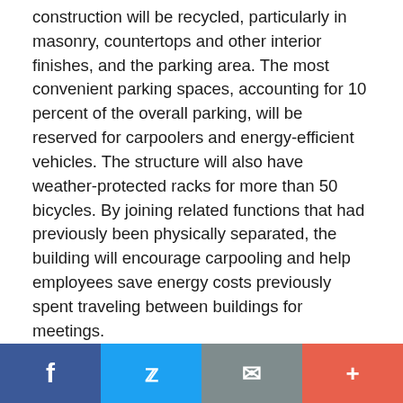construction will be recycled, particularly in masonry, countertops and other interior finishes, and the parking area. The most convenient parking spaces, accounting for 10 percent of the overall parking, will be reserved for carpoolers and energy-efficient vehicles. The structure will also have weather-protected racks for more than 50 bicycles. By joining related functions that had previously been physically separated, the building will encourage carpooling and help employees save energy costs previously spent traveling between buildings for meetings.

“With this new building, Blue Cross and Blue Shield of North Carolina is establishing a new threshold for businesses and governments in North Carolina with
f  Twitter  Email  +